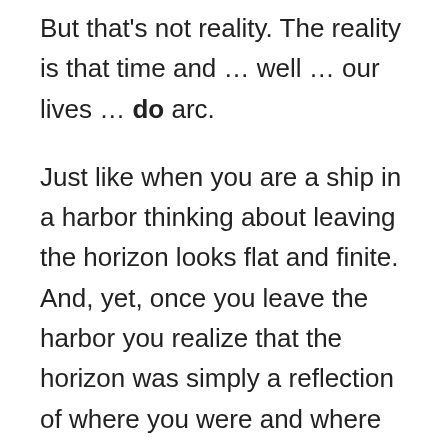But that's not reality. The reality is that time and … well … our lives … do arc.
Just like when you are a ship in a harbor thinking about leaving the horizon looks flat and finite. And, yet, once you leave the harbor you realize that the horizon was simply a reflection of where you were and where you stood and that the reality was the world, the universe, arcs and bends to things you could not see from where you once stood.
Yeah. Sometimes that is hard to